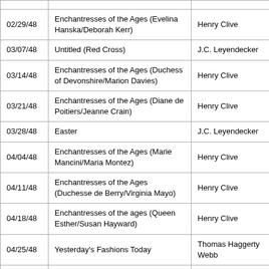| Date | Title | Artist |
| --- | --- | --- |
| 02/29/48 | Enchantresses of the Ages (Evelina Hanska/Deborah Kerr) | Henry Clive |
| 03/07/48 | Untitled (Red Cross) | J.C. Leyendecker |
| 03/14/48 | Enchantresses of the Ages (Duchess of Devonshire/Marion Davies) | Henry Clive |
| 03/21/48 | Enchantresses of the Ages (Diane de Poitiers/Jeanne Crain) | Henry Clive |
| 03/28/48 | Easter | J.C. Leyendecker |
| 04/04/48 | Enchantresses of the Ages (Marie Mancini/Maria Montez) | Henry Clive |
| 04/11/48 | Enchantresses of the Ages (Duchesse de Berry/Virginia Mayo) | Henry Clive |
| 04/18/48 | Enchantresses of the ages (Queen Esther/Susan Hayward) | Henry Clive |
| 04/25/48 | Yesterday's Fashions Today | Thomas Haggerty Webb |
| 05/02/48 | Yesterday's Fashions Today | Thomas Haggerty Webb |
| 05/09/48 | Enchantresses of the Ages (Pauline Bonaparte/Kathryn Grayson) | Henry Clive |